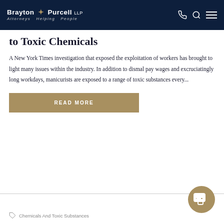Brayton + Purcell LLP — Attorneys Helping People
to Toxic Chemicals
A New York Times investigation that exposed the exploitation of workers has brought to light many issues within the industry. In addition to dismal pay wages and excruciatingly long workdays, manicurists are exposed to a range of toxic substances every...
READ MORE
Chemicals And Toxic Substances